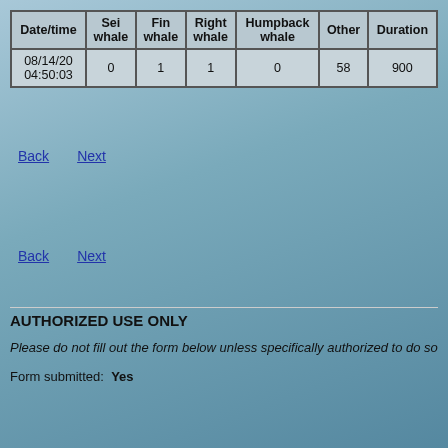| Date/time | Sei whale | Fin whale | Right whale | Humpback whale | Other | Duration |
| --- | --- | --- | --- | --- | --- | --- |
| 08/14/20 04:50:03 | 0 | 1 | 1 | 0 | 58 | 900 |
Back   Next
Back   Next
AUTHORIZED USE ONLY
Please do not fill out the form below unless specifically authorized to do so
Form submitted:  Yes